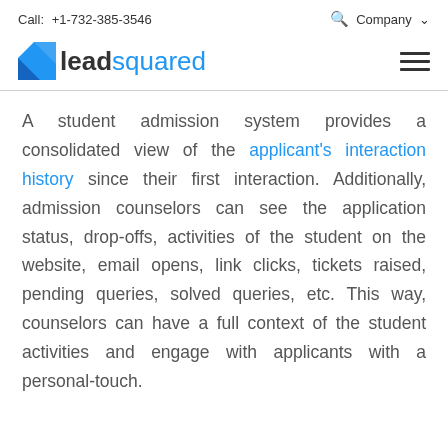Call: +1-732-385-3546   Company
[Figure (logo): LeadSquared logo with blue square icon and text 'leadsquared']
A student admission system provides a consolidated view of the applicant's interaction history since their first interaction. Additionally, admission counselors can see the application status, drop-offs, activities of the student on the website, email opens, link clicks, tickets raised, pending queries, solved queries, etc. This way, counselors can have a full context of the student activities and engage with applicants with a personal-touch.